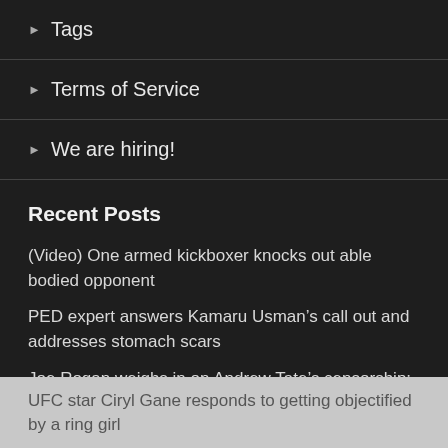▶ Tags
▶ Terms of Service
▶ We are hiring!
Recent Posts
(Video) One armed kickboxer knocks out able bodied opponent
PED expert answers Kamaru Usman's call out and addresses stomach scars
Joe Rogan weighs in on Andrew Tate's censorship: “if he just did the pro-male stuff and pro-accountability, pro-discipline stuff, [he would’ve been fine]”
UFC star Ciryl Gane responds to getting objectified by a ring girl